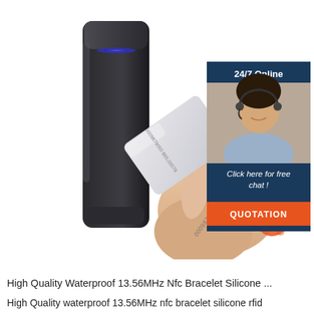[Figure (photo): An RFID card reader device (black, rectangular) with a white proximity/NFC card being held in a hand showing the card number 0009879050 865,00079. An overlay panel in the top-right shows a customer service agent with headset, labeled '24/7 Online', with 'Click here for free chat!' text and an orange 'QUOTATION' button. A TOP logo appears at the bottom right of the image.]
High Quality Waterproof 13.56MHz Nfc Bracelet Silicone ...
High Quality waterproof 13.56MHz nfc bracelet silicone rfid